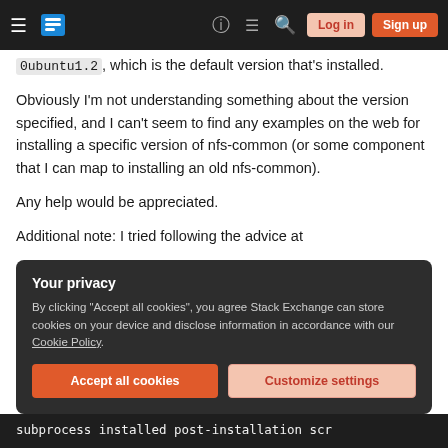Stack Exchange navigation bar with hamburger menu, logo, help, chat, search icons, Log in and Sign up buttons
0ubuntu1.2, which is the default version that's installed.
Obviously I'm not understanding something about the version specified, and I can't seem to find any examples on the web for installing a specific version of nfs-common (or some component that I can map to installing an old nfs-common).
Any help would be appreciated.
Additional note: I tried following the advice at
Your privacy
By clicking "Accept all cookies", you agree Stack Exchange can store cookies on your device and disclose information in accordance with our Cookie Policy.
Accept all cookies   Customize settings
subprocess installed post-installation scr...